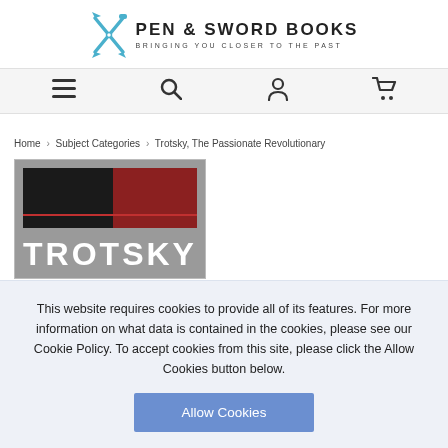[Figure (logo): Pen & Sword Books logo with crossed pen and sword icon and tagline 'BRINGING YOU CLOSER TO THE PAST']
[Figure (screenshot): Navigation bar with hamburger menu, search, account, and cart icons on light gray background]
Home > Subject Categories > Trotsky, The Passionate Revolutionary
[Figure (photo): Book cover showing 'TROTSKY' in large white bold letters on a black and dark red background]
This website requires cookies to provide all of its features. For more information on what data is contained in the cookies, please see our Cookie Policy. To accept cookies from this site, please click the Allow Cookies button below.